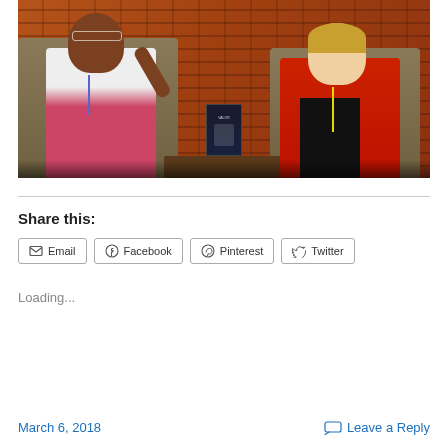[Figure (photo): Two women seated in chairs in front of a brick wall. The woman on the left is Black, wearing white top with colorful scarf and a lanyard, gesturing with her hand. The woman on the right is wearing a red jacket over black top with a yellow lanyard. A book titled 'Valor' is on a table between them.]
Share this:
Email  Facebook  Pinterest  Twitter
Loading...
March 6, 2018
Leave a Reply